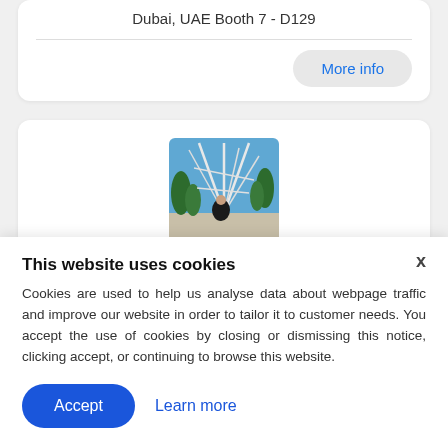Dubai, UAE Booth 7 - D129
More info
[Figure (photo): Outdoor photo showing a person in front of a structure with cables/ropes against a blue sky, with trees in background]
Gabriele Geraci is the New
x
This website uses cookies
Cookies are used to help us analyse data about webpage traffic and improve our website in order to tailor it to customer needs. You accept the use of cookies by closing or dismissing this notice, clicking accept, or continuing to browse this website.
Accept
Learn more